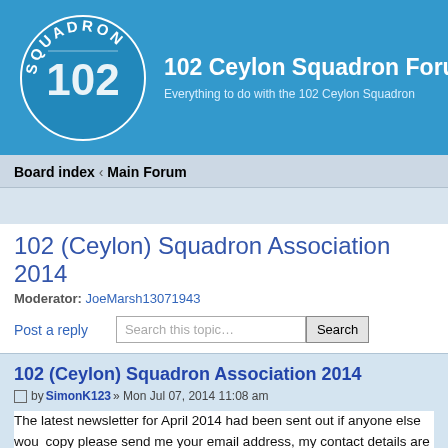[Figure (logo): Squadron 102 circular logo with white text on blue background]
102 Ceylon Squadron Forum
Everything to do with the 102 Ceylon Squadron
Board index « Main Forum
102 (Ceylon) Squadron Association 2014
Moderator: JoeMarsh13071943
Post a reply
102 (Ceylon) Squadron Association 2014
by SimonK123 » Mon Jul 07, 2014 11:08 am
The latest newsletter for April 2014 had been sent out if anyone else wou... copy please send me your email address, my contact details are below.

We still have places available for the reunion this year. Please ring or em... book your places straight away, we can still fit you in.

The dinner will be £20.00 per person and the meal will be similar to last y...